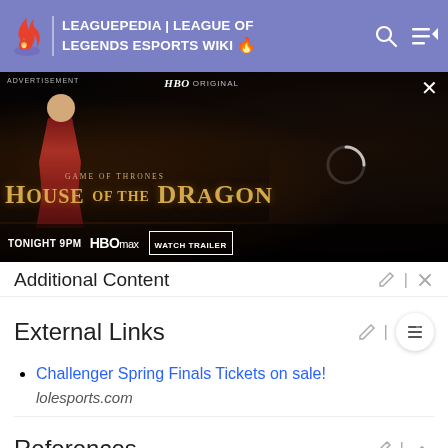LEAGUEPEDIA | LEAGUE OF LEGENDS ESPORTS WIKI
[Figure (photo): HBO Original advertisement for House of the Dragon (Game of Thrones), showing a woman in a red dress, Tonight 9PM, HBO Max, Watch Trailer]
Additional Content
External Links
Challenger Spring Finals Tickets on sale!
lolesports.com
References